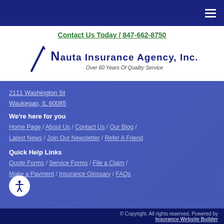Contact Us Today / 847-662-8750
[Figure (logo): Nauta Insurance Agency, Inc. logo with diagonal pen/pencil icon and tagline 'Over 60 Years Of Quality Service']
2111 Washington St
Waukegan, IL 60085
We're here for you
Home Page / About Us / Contact Us / Our Blog / Latest News / Join Our Newsletter / Refer A Friend
Quick Help Links
Quote Forms / Service Forms / File a Claim / Make a Payment / Insurance Glossary / FAQs
© Copyright. All rights reserved. Powered by Insurance Website Builder